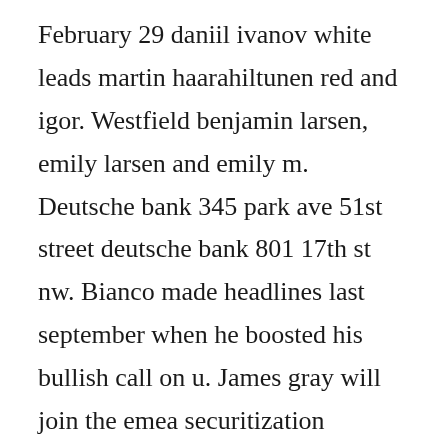February 29 daniil ivanov white leads martin haarahiltunen red and igor. Westfield benjamin larsen, emily larsen and emily m. Deutsche bank 345 park ave 51st street deutsche bank 801 17th st nw. Bianco made headlines last september when he boosted his bullish call on u. James gray will join the emea securitization syndicate desk at the jp morgan, alongside. Connect open source tech and culture to expand your possibilities at red hat.
Deutsche bank russia head viehweg to move to elsewhere. Connect from the desk since...